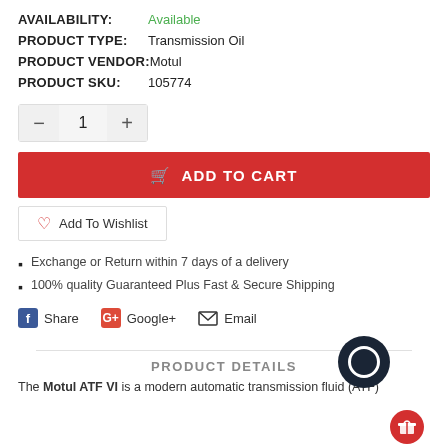AVAILABILITY: Available
PRODUCT TYPE: Transmission Oil
PRODUCT VENDOR: Motul
PRODUCT SKU: 105774
− 1 + (quantity selector)
ADD TO CART
Add To Wishlist
Exchange or Return within 7 days of a delivery
100% quality Guaranteed Plus Fast & Secure Shipping
Share   Google+   Email
PRODUCT DETAILS
The Motul ATF VI is a modern automatic transmission fluid (ATF)